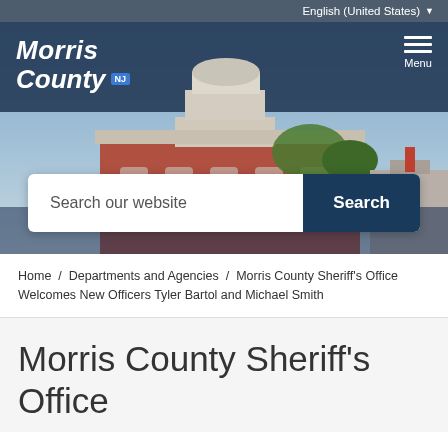English (United States)
[Figure (screenshot): Morris County NJ government website header with courthouse photo background, Morris County NJ logo top-left, hamburger menu top-right, and a search bar overlay reading 'Search our website' with a 'Search' button]
Home / Departments and Agencies / Morris County Sheriff's Office Welcomes New Officers Tyler Bartol and Michael Smith
Morris County Sheriff's Office